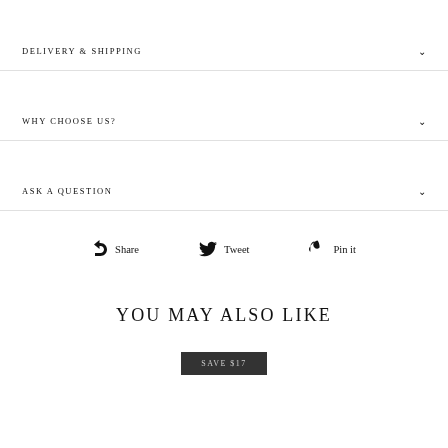DELIVERY & SHIPPING
WHY CHOOSE US?
ASK A QUESTION
Share   Tweet   Pin it
YOU MAY ALSO LIKE
SAVE $17